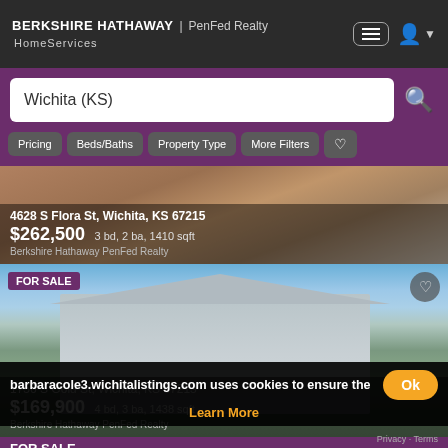BERKSHIRE HATHAWAY | PenFed Realty HomeServices
Wichita (KS)
Pricing
Beds/Baths
Property Type
More Filters
[Figure (photo): Photo of house at 4628 S Flora St, Wichita, KS 67215]
4628 S Flora St, Wichita, KS 67215
$262,500 3 bd, 2 ba, 1410 sqft
Berkshire Hathaway PenFed Realty
[Figure (photo): Photo of house at 1756 S Gold St, Wichita, KS 67213 - FOR SALE]
1756 S Gold St, Wichita, KS 67213
$169,900 4 bd, 3 ba, 1438 sqft
Berkshire Hathaway PenFed Realty
barbaracole3.wichitalistings.com uses cookies to ensure the
Learn More
FOR SALE